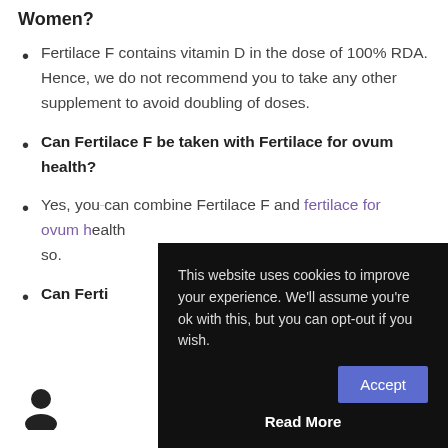Women?
Fertilace F contains vitamin D in the dose of 100% RDA. Hence, we do not recommend you to take any other supplement to avoid doubling of doses.
Can Fertilace F be taken with Fertilace for ovum health?
Yes, you can combine Fertilace F and fertilace for ovum h[ealth] ... so.
Can Ferti[lace...]
[Figure (screenshot): Cookie consent overlay: 'This website uses cookies to improve your experience. We'll assume you're ok with this, but you can opt-out if you wish.' with Accept button and Read More link]